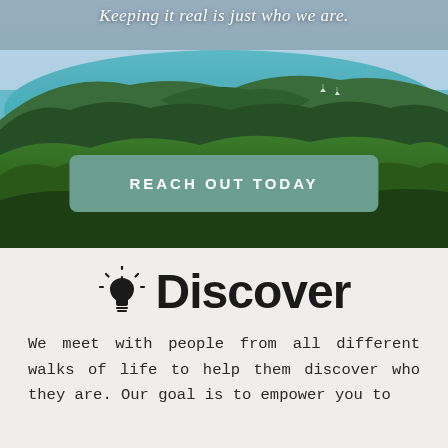[Figure (photo): Aerial landscape photo showing a coastal bay with turquoise water, green trees, and hills in New Zealand]
Keeping it real is just who we are.
REACH OUT TODAY
Discover
We meet with people from all different walks of life to help them discover who they are. Our goal is to empower you to